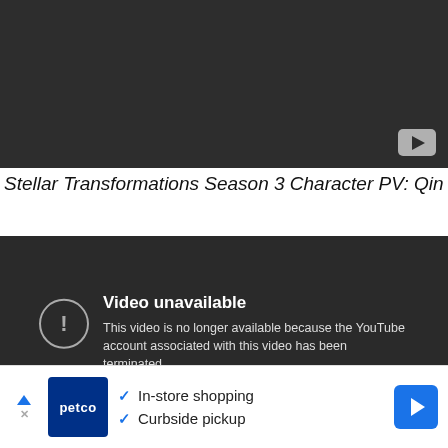[Figure (screenshot): Dark grey YouTube video thumbnail placeholder with a YouTube play button icon in the bottom-right corner.]
Stellar Transformations Season 3 Character PV: Qin Yu
[Figure (screenshot): Dark grey video player showing 'Video unavailable' message with exclamation icon. Text reads: 'This video is no longer available because the YouTube account associated with this video has been terminated.']
[Figure (screenshot): Advertisement bar for Petco showing 'In-store shopping' and 'Curbside pickup' with checkmarks, Petco blue logo, and a blue navigation arrow icon.]